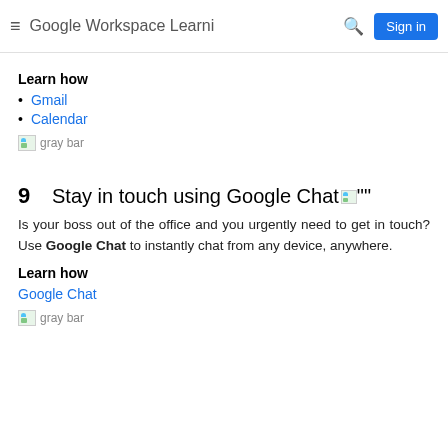Google Workspace Learni  Sign in
Learn how
Gmail
Calendar
[Figure (other): gray bar placeholder image]
9  Stay in touch using Google Chat
Is your boss out of the office and you urgently need to get in touch? Use Google Chat to instantly chat from any device, anywhere.
Learn how
Google Chat
[Figure (other): gray bar placeholder image]